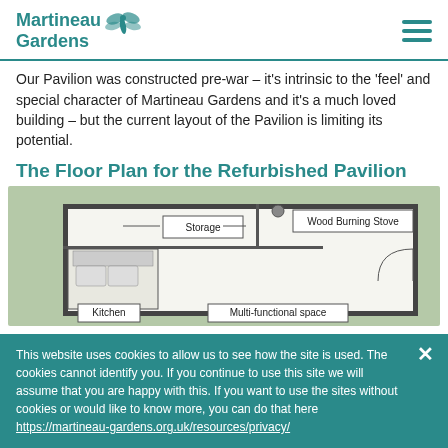Martineau Gardens
Our Pavilion was constructed pre-war – it's intrinsic to the 'feel' and special character of Martineau Gardens and it's a much loved building – but the current layout of the Pavilion is limiting its potential.
The Floor Plan for the Refurbished Pavilion
[Figure (engineering-diagram): Floor plan diagram of the refurbished Pavilion showing Storage area, Wood Burning Stove, Kitchen, and Multi-functional space labels with architectural drawing lines]
This website uses cookies to allow us to see how the site is used. The cookies cannot identify you. If you continue to use this site we will assume that you are happy with this. If you want to use the sites without cookies or would like to know more, you can do that here https://martineau-gardens.org.uk/resources/privacy/